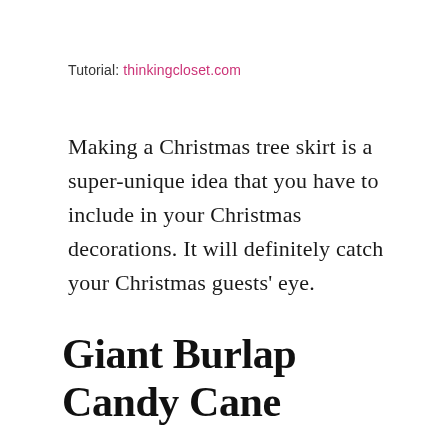Tutorial: thinkingcloset.com
Making a Christmas tree skirt is a super-unique idea that you have to include in your Christmas decorations. It will definitely catch your Christmas guests' eye.
Giant Burlap Candy Cane